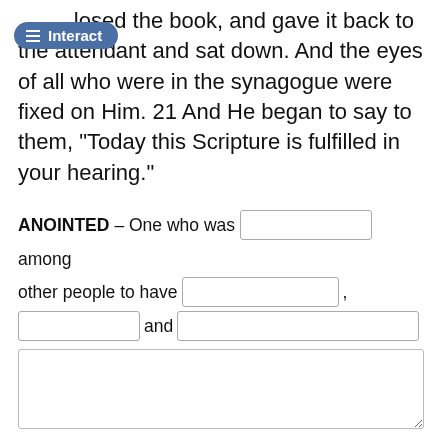closed the book, and gave it back to the attendant and sat down. And the eyes of all who were in the synagogue were fixed on Him. 21 And He began to say to them, “Today this Scripture is fulfilled in your hearing.”
ANOINTED – One who was [blank] among other people to have [blank], [blank] and [blank]
[textarea box]
2 Corinthians 1:21-22 —Now He who establishes us with you in Christ and has anointed